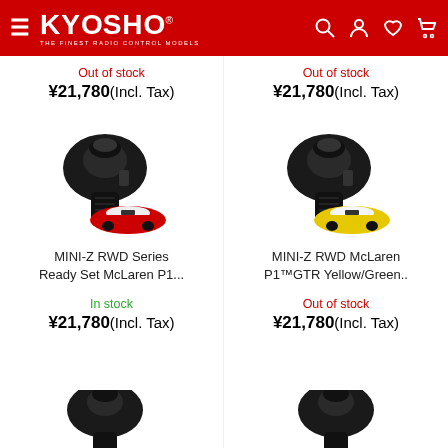KYOSHO® - THE FINEST RADIO CONTROL MODELS
Out of stock
¥21,780(Incl. Tax)
[Figure (photo): RC car set with radio controller and McLaren P1 model car (red/white)]
MINI-Z RWD Series Ready Set McLaren P1...
In stock
¥21,780(Incl. Tax)
Out of stock
¥21,780(Incl. Tax)
[Figure (photo): RC car set with radio controller and McLaren P1 GTR model car (yellow/green)]
MINI-Z RWD McLaren P1™GTR Yellow/Green..
Out of stock
¥21,780(Incl. Tax)
[Figure (photo): RC car set with radio controller (dark/black), partially visible at bottom]
[Figure (photo): RC car set with radio controller, partially visible at bottom]